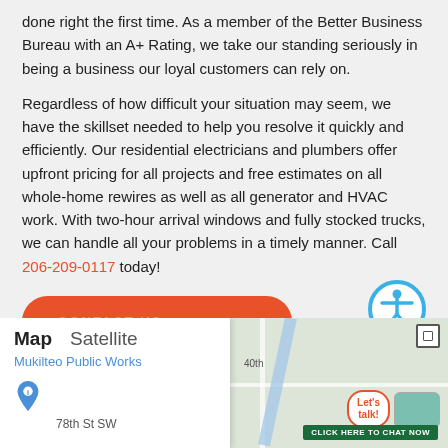done right the first time. As a member of the Better Business Bureau with an A+ Rating, we take our standing seriously in being a business our loyal customers can rely on.
Regardless of how difficult your situation may seem, we have the skillset needed to help you resolve it quickly and efficiently. Our residential electricians and plumbers offer upfront pricing for all projects and free estimates on all whole-home rewires as well as all generator and HVAC work. With two-hour arrival windows and fully stocked trucks, we can handle all your problems in a timely manner. Call 206-209-0117 today!
[Figure (other): Red rounded rectangle button with text CONTACT US in faint white letters, and a blue accessibility icon circle with person symbol on the right]
[Figure (map): Google Maps embed showing Map/Satellite toggle panel, Mukilteo Public Works label, 78th St SW street label, map pin icon, and map tiles with roads. Chat bubble and click-to-chat bar visible on the right side.]